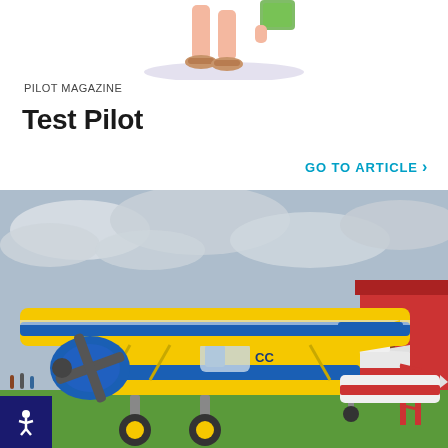[Figure (illustration): Cartoon illustration of legs/feet of a person walking, visible from knees down, wearing sandals, partial view cropped at top of page]
PILOT MAGAZINE
Test Pilot
GO TO ARTICLE >
[Figure (photo): Photograph of a yellow and blue vintage propeller airplane (biplane/high-wing) with registration letters CC visible on fuselage, parked on green grass airfield with other aircraft and a red hangar building in background under cloudy sky]